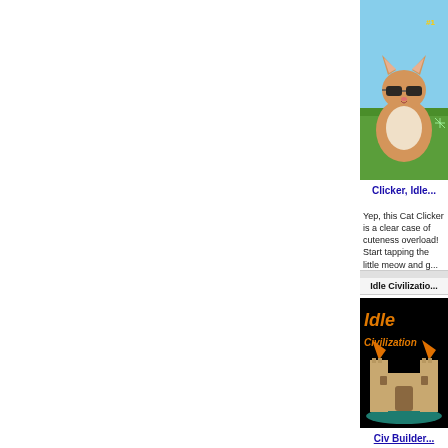[Figure (screenshot): Cat with sunglasses standing on grass with blue sky background, clicker game screenshot]
Clicker, Idle...
Yep, this Cat Clicker is a clear case of cuteness overload! Start tapping the little meow and g...
Idle Civilization
[Figure (screenshot): Idle Civilization pixel art game showing a castle with orange text logo on black background]
Civ Builder...